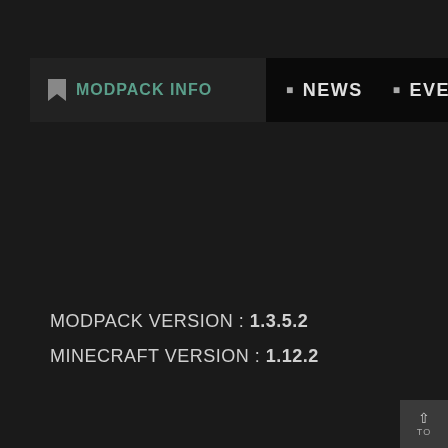MODPACK INFO
NEWS
EVENTS
MODPACK VERSION : 1.3.5.2
MINECRAFT VERSION : 1.12.2